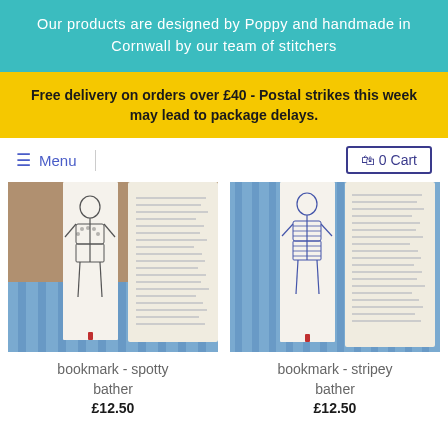Our products are designed by Poppy and handmade in Cornwall by our team of stitchers
Free delivery on orders over £40 - Postal strikes this week may lead to package delays.
≡ Menu   🛍 0 Cart
[Figure (photo): Fabric bookmark with embroidered spotty bather figure tucked into an open book, on a striped blue background with small orange pebbles]
[Figure (photo): Fabric bookmark with embroidered stripey bather figure tucked into an open book, on a striped blue background]
bookmark - spotty bather
£12.50
bookmark - stripey bather
£12.50